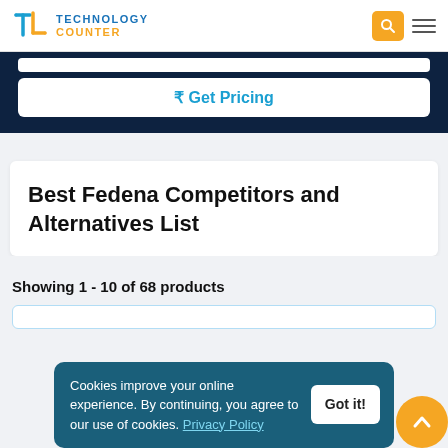Technology Counter
₹ Get Pricing
Best Fedena Competitors and Alternatives List
Showing 1 - 10 of 68 products
Cookies improve your online experience. By continuing, you agree to our use of cookies. Privacy Policy